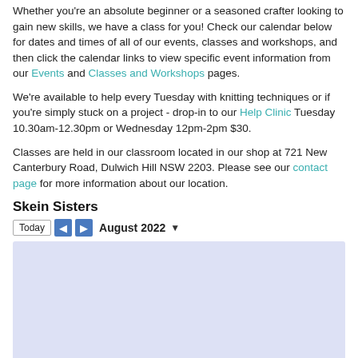Whether you're an absolute beginner or a seasoned crafter looking to gain new skills, we have a class for you! Check our calendar below for dates and times of all of our events, classes and workshops, and then click the calendar links to view specific event information from our Events and Classes and Workshops pages.
We're available to help every Tuesday with knitting techniques or if you're simply stuck on a project - drop-in to our Help Clinic Tuesday 10.30am-12.30pm or Wednesday 12pm-2pm $30.
Classes are held in our classroom located in our shop at 721 New Canterbury Road, Dulwich Hill NSW 2203. Please see our contact page for more information about our location.
Skein Sisters
[Figure (screenshot): Google Calendar embed showing August 2022, with navigation buttons (Today, back arrow, forward arrow) and a month dropdown. The calendar area is displayed with a light blue/lavender background.]